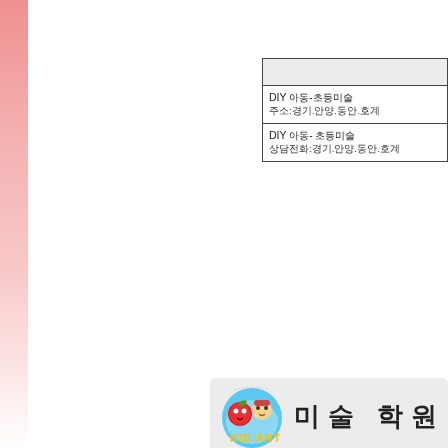|  |
| --- |
| DIY 아동-초등미술 |
| 주소:경기.안양.동안.호계 |
| DIY 아동- 초등미술 |
| 상담전화:경기.안양.동안.호계 |
[Figure (logo): KID ART logo with cartoon children characters in a blue circle, followed by Korean text meaning 'company name']
대표전화02-8932-2033 | 팩스02-8... Email: castudio2200@gm...